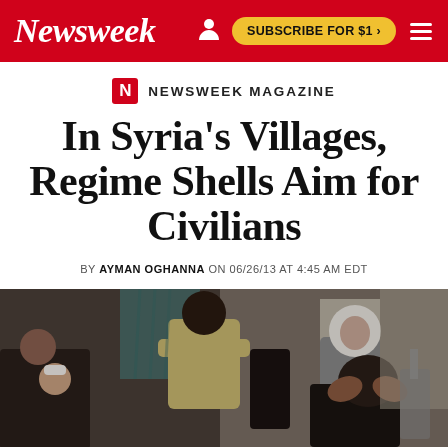Newsweek | SUBSCRIBE FOR $1 >
NEWSWEEK MAGAZINE
In Syria's Villages, Regime Shells Aim for Civilians
BY AYMAN OGHANNA ON 06/26/13 AT 4:45 AM EDT
[Figure (photo): People in what appears to be a medical setting or shelter — a man in a yellow shirt stands with his back to the camera, a woman in a white hijab looks on from the right, a woman on the left holds a child, and a person in the foreground has their head in their hands.]